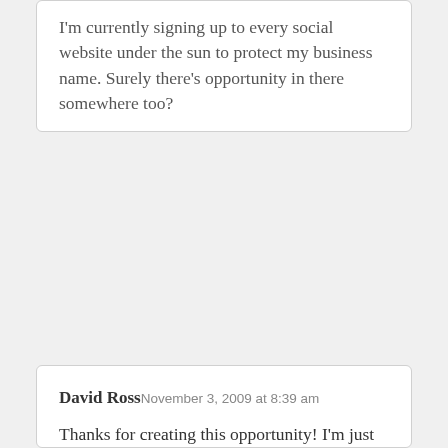I'm currently signing up to every social website under the sun to protect my business name. Surely there's opportunity in there somewhere too?
David Ross
November 3, 2009 at 8:39 am
Thanks for creating this opportunity! I'm just starting out a blog and I need direction. I want to keep things personal but also drive a business. I hope to learn what really works and how it can work for me. AND My greatest frustration is creating something that's unique, fun and with value for my readers. I'm currently signing up to every social